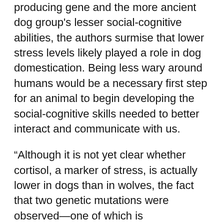producing gene and the more ancient dog group's lesser social-cognitive abilities, the authors surmise that lower stress levels likely played a role in dog domestication. Being less wary around humans would be a necessary first step for an animal to begin developing the social-cognitive skills needed to better interact and communicate with us.
“Although it is not yet clear whether cortisol, a marker of stress, is actually lower in dogs than in wolves, the fact that two genetic mutations were observed—one of which is accompanied by changes in the production of intracellular cortisol—may provide clues to how the canine tolerance and ability to adapt easily to human society was acquired,” Nagasawa says. She and her colleagues are now conducting follow-up research to check whether cortisol levels actually differ between the two breed groups.
The Scientific Reports study presents “exciting new